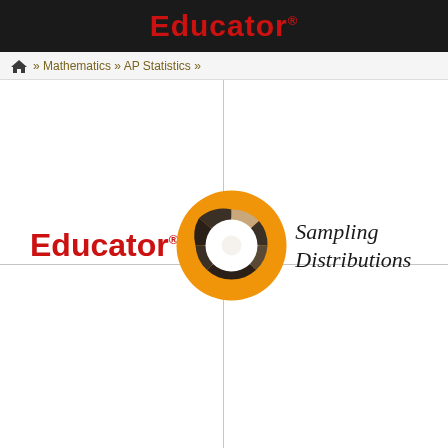Educator®
» Mathematics » AP Statistics »
[Figure (logo): Educator.com course title card with Educator® logo in red bold text, a donut-chart icon in orange with dark brown/tan segments, crosshair lines, and italic serif text reading 'Sampling Distributions']